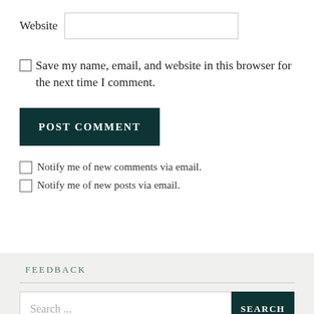Website [input field]
Save my name, email, and website in this browser for the next time I comment.
POST COMMENT
Notify me of new comments via email.
Notify me of new posts via email.
FEEDBACK
Search ...